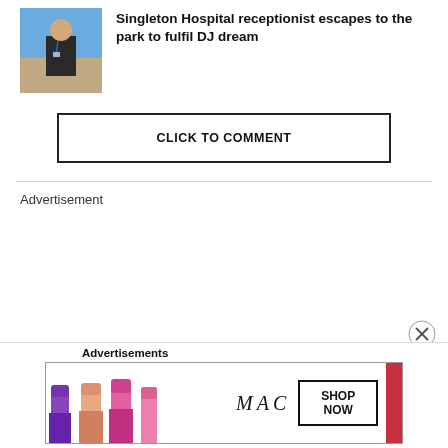[Figure (photo): Photo of a man standing outdoors near a brick wall, wearing a dark shirt with a lanyard/badge, blue sky in background]
Singleton Hospital receptionist escapes to the park to fulfil DJ dream
CLICK TO COMMENT
Advertisement
Advertisements
[Figure (photo): MAC cosmetics advertisement showing colorful lipsticks on left, MAC brand name in center, SHOP NOW button, and red lipstick on right]